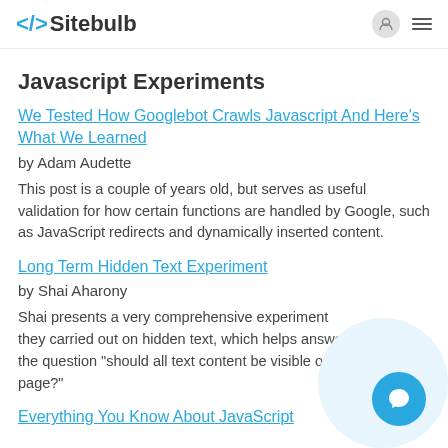</> Sitebulb
Javascript Experiments
We Tested How Googlebot Crawls Javascript And Here's What We Learned
by Adam Audette
This post is a couple of years old, but serves as useful validation for how certain functions are handled by Google, such as JavaScript redirects and dynamically inserted content.
Long Term Hidden Text Experiment
by Shai Aharony
Shai presents a very comprehensive experiment they carried out on hidden text, which helps answer the question "should all text content be visible on the page?"
Everything You Know About JavaScript